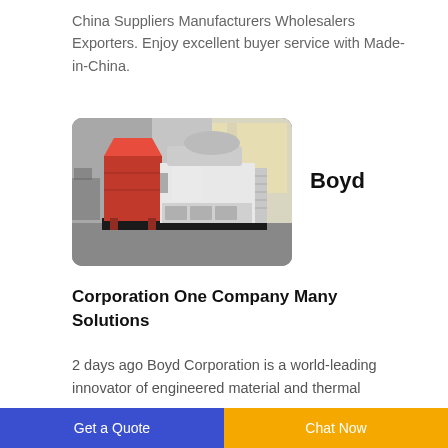China Suppliers Manufacturers Wholesalers Exporters. Enjoy excellent buyer service with Made-in-China.
[Figure (photo): Industrial grain/seed processing machine with a red hopper/dust collector on the left and a white machine body on the right, photographed inside a factory warehouse.]
Boyd
Corporation One Company Many Solutions
2 days ago Boyd Corporation is a world-leading innovator of engineered material and thermal
Get a Quote   Chat Now